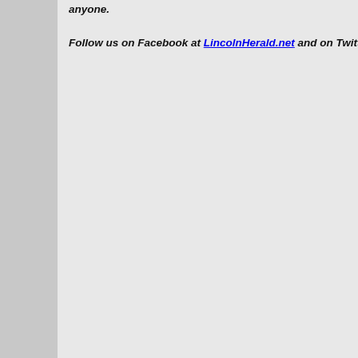anyone.
Follow us on Facebook at LincolnHerald.net and on Twitter @LincolnHerald20.
The Dep pa Com Surve data and rega cou